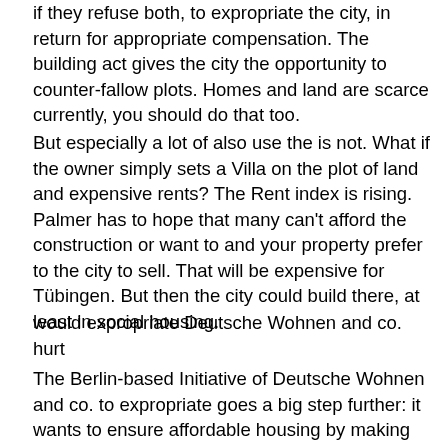if they refuse both, to expropriate the city, in return for appropriate compensation. The building act gives the city the opportunity to counter-fallow plots. Homes and land are scarce currently, you should do that too.
But especially a lot of also use the is not. What if the owner simply sets a Villa on the plot of land and expensive rents? The Rent index is rising. Palmer has to hope that many can't afford the construction or want to and your property prefer to the city to sell. That will be expensive for Tübingen. But then the city could build there, at least in social housing.
would expropriate Deutsche Wohnen and co. hurt
The Berlin-based Initiative of Deutsche Wohnen and co. to expropriate goes a big step further: it wants to ensure affordable housing by making the housing of the largest corporations to state property. Instead of Profit linked to the